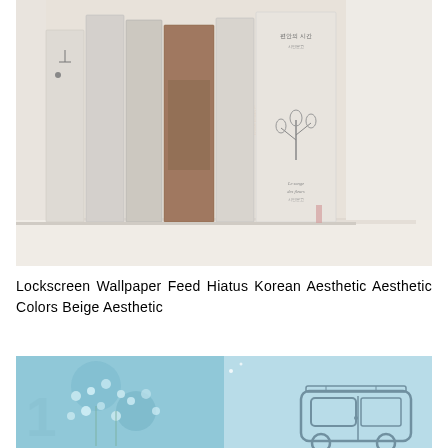[Figure (photo): A photograph of several Korean books standing upright on a white shelf against a white background. The books have minimal, aesthetic covers in muted tones of white, gray, beige, and brown with Korean text on their spines.]
Lockscreen Wallpaper Feed Hiatus Korean Aesthetic Aesthetic Colors Beige Aesthetic
[Figure (photo): A partial photograph showing a light blue aesthetic image with what appears to be small pearl-like flowers or berries on the left half and a simple line drawing of a van/car on the right half, against a light blue background.]